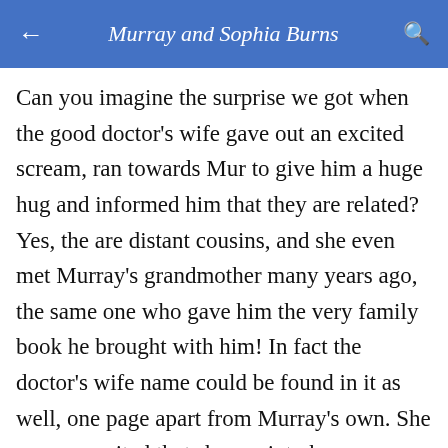Murray and Sophia Burns
Can you imagine the surprise we got when the good doctor's wife gave out an excited scream, ran towards Mur to give him a huge hug and informed him that they are related? Yes, the are distant cousins, and she even met Murray's grandmother many years ago, the same one who gave him the very family book he brought with him! In fact the doctor's wife name could be found in it as well, one page apart from Murray's own. She was so excited that she ran into her husband's office, screaming "Guess what, Mr. Burns and I are blood relatives, we're cousins!!"